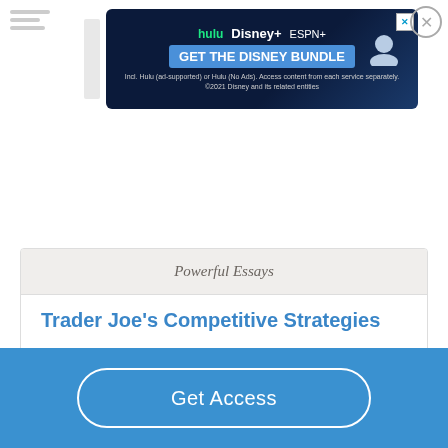[Figure (screenshot): Disney Bundle advertisement banner with Hulu, Disney+, and ESPN+ logos on a dark blue background with 'GET THE DISNEY BUNDLE' call to action]
Powerful Essays
Trader Joe's Competitive Strategies
1345 Words
6 Pages
Get Access